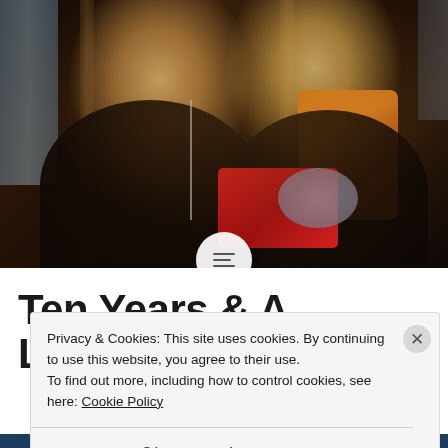[Figure (photo): Two women sitting on a train. Left woman has short blonde/brown hair, wearing dark jacket, listening to music with earphones. Right woman has long blonde hair, wearing orange scarf and dark jacket, knitting grey yarn. Warm interior lighting, dark wood seat backs visible. Red bag on right woman's lap.]
Ten Years & A Longer
Privacy & Cookies: This site uses cookies. By continuing to use this website, you agree to their use.
To find out more, including how to control cookies, see here: Cookie Policy
Close and accept